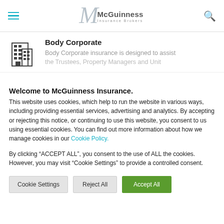McGuinness Insurance Brokers
[Figure (logo): McGuinness Insurance Brokers logo with stylized M and company name]
Body Corporate
Body Corporate insurance is designed to assist the Trustees, Property Managers and Unit...
Welcome to McGuinness Insurance.
This website uses cookies, which help to run the website in various ways, including providing essential services, advertising and analytics. By accepting or rejecting this notice, or continuing to use this website, you consent to us using essential cookies. You can find out more information about how we manage cookies in our Cookie Policy.
By clicking “ACCEPT ALL”, you consent to the use of ALL the cookies. However, you may visit "Cookie Settings" to provide a controlled consent.